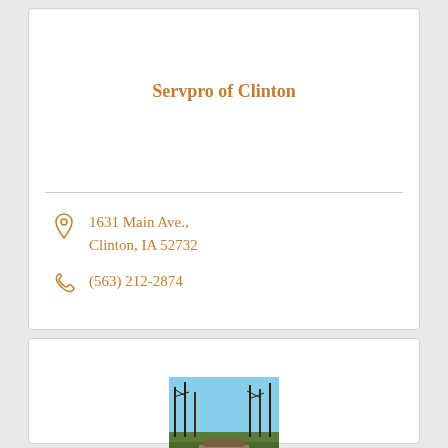Servpro of Clinton
1631 Main Ave., Clinton, IA 52732
(563) 212-2874
[Figure (photo): Outdoor photo showing trees and a road/bridge scene with blue sky, partially visible at bottom of page]